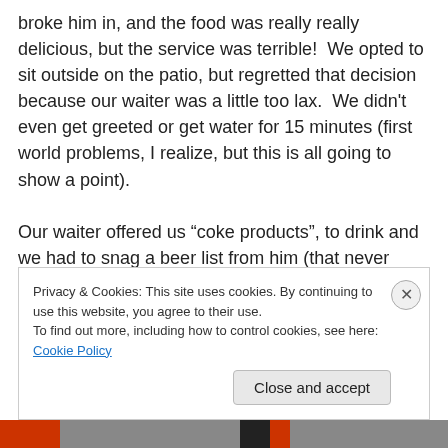broke him in, and the food was really really delicious, but the service was terrible!  We opted to sit outside on the patio, but regretted that decision because our waiter was a little too lax.  We didn't even get greeted or get water for 15 minutes (first world problems, I realize, but this is all going to show a point).

Our waiter offered us “coke products”, to drink and we had to snag a beer list from him (that never happens… turns out he didn’t think we were 21… thank you?). When Paul asked what was on tap, the waiter said, “it’s all crafty stuff”
Privacy & Cookies: This site uses cookies. By continuing to use this website, you agree to their use.
To find out more, including how to control cookies, see here: Cookie Policy